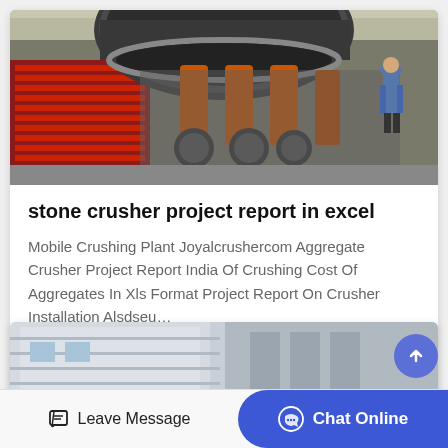[Figure (photo): Industrial stone crusher machinery with large rotating drum, orange mechanical arms/rollers, red steel bars on left, and a worker in blue uniform standing at right in a factory/plant setting.]
stone crusher project report in excel
Mobile Crushing Plant Joyalcrushercom Aggregate Crusher Project Report India Of Crushing Cost Of Aggregates In Xls Format Project Report On Crusher Installation Alsdseu…
Get Price
[Figure (photo): Partial view of a building exterior, cropped at bottom of page.]
Leave Message
Chat Online